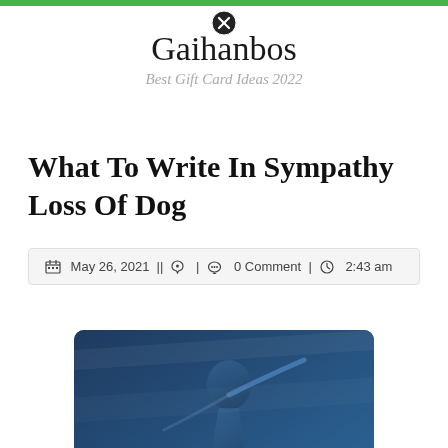Gaihanbos — Best Gift Card Ideas 2022
What To Write In Sympathy Loss Of Dog
May 26, 2021 || [user icon] | [comment icon] 0 Comment | [clock icon] 2:43 am
[Figure (photo): Golf Galaxy gift card image showing a golfer swinging, with 'GOLF GALAXY' text overlay and 'GIFT CARD' label at bottom]